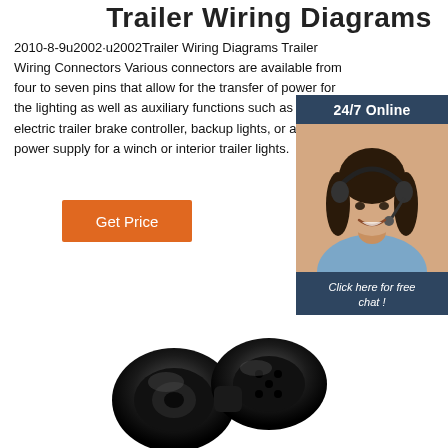Trailer Wiring Diagrams
2010-8-9u2002·u2002Trailer Wiring Diagrams Trailer Wiring Connectors Various connectors are available from four to seven pins that allow for the transfer of power for the lighting as well as auxiliary functions such as an electric trailer brake controller, backup lights, or a 12V power supply for a winch or interior trailer lights.
[Figure (screenshot): Orange 'Get Price' button]
[Figure (screenshot): 24/7 Online chat widget with photo of woman with headset, 'Click here for free chat!' text and orange QUOTATION button]
[Figure (photo): Black trailer wiring connector/plug product photo at bottom of page]